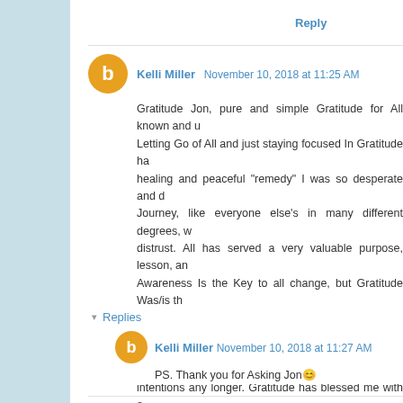Reply
Kelli Miller  November 10, 2018 at 11:25 AM
Gratitude Jon, pure and simple Gratitude for All known and u... Letting Go of All and just staying focused In Gratitude ha... healing and peaceful "remedy" I was so desperate and d... Journey, like everyone else's in many different degrees, w... distrust. All has served a very valuable purpose, lesson, an... Awareness Is the Key to all change, but Gratitude Was/is th... to flow and release all the distortions from my clouded/susp... only what I need to see, and be "detached" peacefully Now... intentions any longer. Gratitude has blessed me with a... understanding, and IS the purest mind altering "drug" to ch... for All Now,lol😊🙏🙏
Much Gratitude, Love, Awareness and True Peace Be for All
Reply
Replies
Kelli Miller  November 10, 2018 at 11:27 AM
PS. Thank you for Asking Jon😊